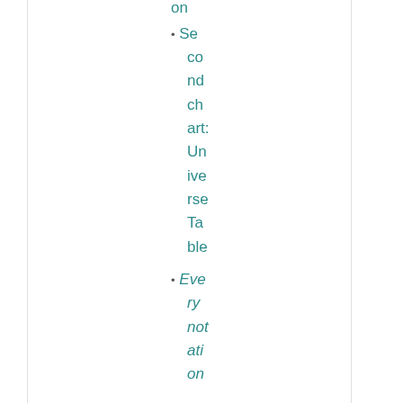Second chart: Universe Table
Every notation